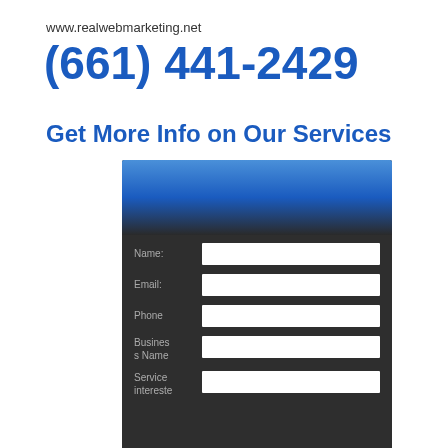www.realwebmarketing.net
(661) 441-2429
Get More Info on Our Services
[Figure (other): Contact form widget with blue gradient header and dark background, containing fields: Name, Email, Phone, Business Name, Service interested]